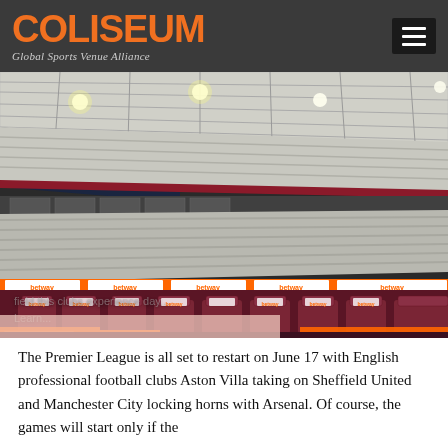COLISEUM — Global Sports Venue Alliance
[Figure (photo): Interior of a large football stadium with claret and blue seats, VIP seating in the foreground with betway branding, large empty stands in the background under a white roof with bright lights.]
The Premier League is all set to restart on June 17 with English professional football clubs Aston Villa taking on Sheffield United and Manchester City locking horns with Arsenal. Of course, the games will start only if the